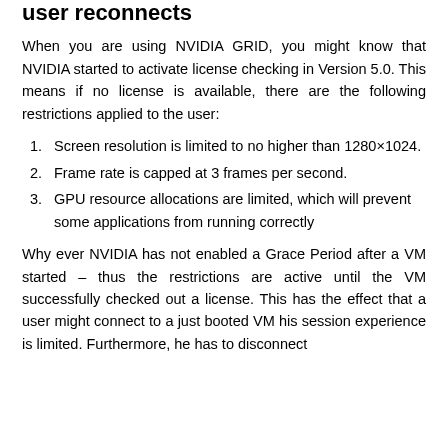user reconnects
When you are using NVIDIA GRID, you might know that NVIDIA started to activate license checking in Version 5.0. This means if no license is available, there are the following restrictions applied to the user:
Screen resolution is limited to no higher than 1280×1024.
Frame rate is capped at 3 frames per second.
GPU resource allocations are limited, which will prevent some applications from running correctly
Why ever NVIDIA has not enabled a Grace Period after a VM started – thus the restrictions are active until the VM successfully checked out a license. This has the effect that a user might connect to a just booted VM his session experience is limited. Furthermore, he has to disconnect